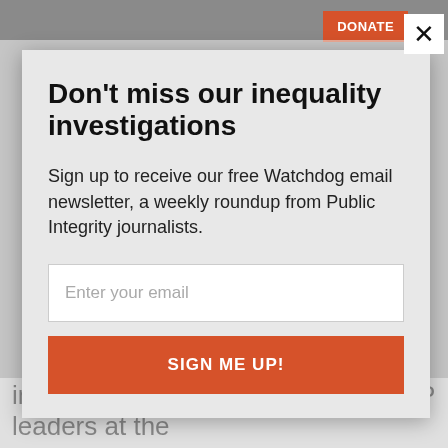DONATE ≡
Don't miss our inequality investigations
Sign up to receive our free Watchdog email newsletter, a weekly roundup from Public Integrity journalists.
Enter your email
SIGN ME UP!
Use the unsubscribe link in these emails to opt out at
included a bicameral retreat for GOP leaders at the